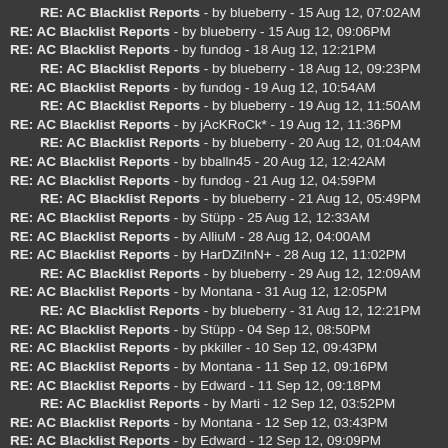RE: AC Blacklist Reports - by blueberry - 15 Aug 12, 07:02AM
RE: AC Blacklist Reports - by blueberry - 15 Aug 12, 09:06PM
RE: AC Blacklist Reports - by fundog - 18 Aug 12, 12:21PM
RE: AC Blacklist Reports - by blueberry - 18 Aug 12, 09:23PM
RE: AC Blacklist Reports - by fundog - 19 Aug 12, 10:54AM
RE: AC Blacklist Reports - by blueberry - 19 Aug 12, 11:50AM
RE: AC Blacklist Reports - by jAcKRoCk* - 19 Aug 12, 11:36PM
RE: AC Blacklist Reports - by blueberry - 20 Aug 12, 01:04AM
RE: AC Blacklist Reports - by bballn45 - 20 Aug 12, 12:42AM
RE: AC Blacklist Reports - by fundog - 21 Aug 12, 04:59PM
RE: AC Blacklist Reports - by blueberry - 21 Aug 12, 05:49PM
RE: AC Blacklist Reports - by Stüpp - 25 Aug 12, 12:33AM
RE: AC Blacklist Reports - by AlliuM - 28 Aug 12, 04:00AM
RE: AC Blacklist Reports - by HarDZi!nN+ - 28 Aug 12, 11:02PM
RE: AC Blacklist Reports - by blueberry - 29 Aug 12, 12:09AM
RE: AC Blacklist Reports - by Montana - 31 Aug 12, 12:05PM
RE: AC Blacklist Reports - by blueberry - 31 Aug 12, 12:21PM
RE: AC Blacklist Reports - by Stüpp - 04 Sep 12, 08:50PM
RE: AC Blacklist Reports - by pkkiller - 10 Sep 12, 09:43PM
RE: AC Blacklist Reports - by Montana - 11 Sep 12, 09:16PM
RE: AC Blacklist Reports - by Edward - 11 Sep 12, 09:18PM
RE: AC Blacklist Reports - by Marti - 12 Sep 12, 03:52PM
RE: AC Blacklist Reports - by Montana - 12 Sep 12, 03:43PM
RE: AC Blacklist Reports - by Edward - 12 Sep 12, 09:09PM
RE: AC Blacklist Reports - by X-Ray_Dog - 13 Sep 12, 11:52PM